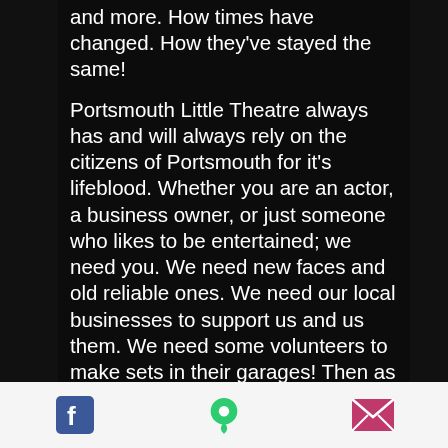and more. How times have changed. How they've stayed the same!
Portsmouth Little Theatre always has and will always rely on the citizens of Portsmouth for it's lifeblood. Whether you are an actor, a business owner, or just someone who likes to be entertained; we need you. We need new faces and old reliable ones. We need our local businesses to support us and us them. We need some volunteers to make sets in their garages! Then as now, the theatre is in constant need of upkeep. The physical location and the organization is a treasure for the area.
One of the lines from the first program for My Sister Eileen is:
[Figure (other): Footer icon bar with three icons: Facebook (blue square with white F), map pin (green), and envelope/email (pink/magenta)]